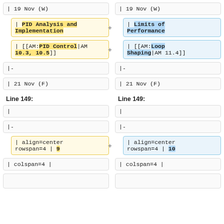| 19 Nov (W)
| 19 Nov (W)
| PID Analysis and Implementation
| Limits of Performance
| [[AM:PID Control|AM 10.3, 10.5]]
| [[AM:Loop Shaping|AM 11.4]]
|-
|-
| 21 Nov (F)
| 21 Nov (F)
Line 149:
Line 149:
|
|
|-
|-
| align=center rowspan=4 | 9
| align=center rowspan=4 | 10
| colspan=4 |
| colspan=4 |